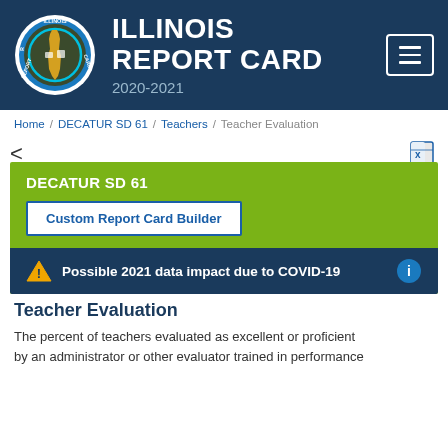[Figure (logo): Illinois Report Card circular logo with state outline and icons]
ILLINOIS REPORT CARD 2020-2021
Home / DECATUR SD 61 / Teachers / Teacher Evaluation
DECATUR SD 61
Custom Report Card Builder
Possible 2021 data impact due to COVID-19
Teacher Evaluation
The percent of teachers evaluated as excellent or proficient by an administrator or other evaluator trained in performance